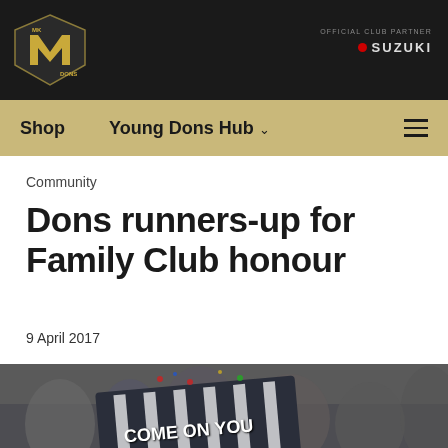MK DONS — OFFICIAL CLUB PARTNER SUZUKI
Shop   Young Dons Hub
Community
Dons runners-up for Family Club honour
9 April 2017
[Figure (photo): MK Dons fans in the stadium crowd, one fan holding a sign reading 'COME ON YOU DONS' with the MK Dons badge, surrounded by other supporters]